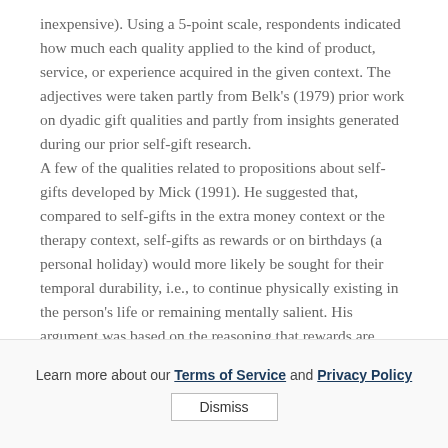inexpensive). Using a 5-point scale, respondents indicated how much each quality applied to the kind of product, service, or experience acquired in the given context. The adjectives were taken partly from Belk's (1979) prior work on dyadic gift qualities and partly from insights generated during our prior self-gift research. A few of the qualities related to propositions about self-gifts developed by Mick (1991). He suggested that, compared to self-gifts in the extra money context or the therapy context, self-gifts as rewards or on birthdays (a personal holiday) would more likely be sought for their temporal durability, i.e., to continue physically existing in the person's life or remaining mentally salient. His argument was based on the reasoning that rewards are sought as testaments to effort and
Learn more about our Terms of Service and Privacy Policy  Dismiss